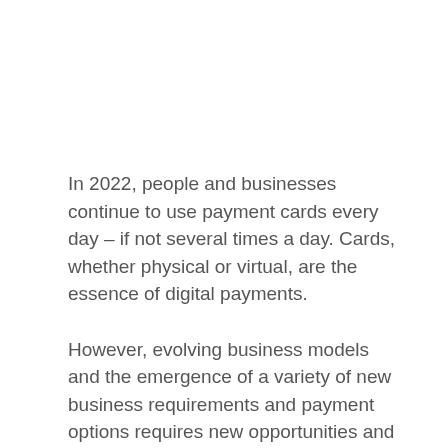In 2022, people and businesses continue to use payment cards every day – if not several times a day. Cards, whether physical or virtual, are the essence of digital payments.
However, evolving business models and the emergence of a variety of new business requirements and payment options requires new opportunities and card